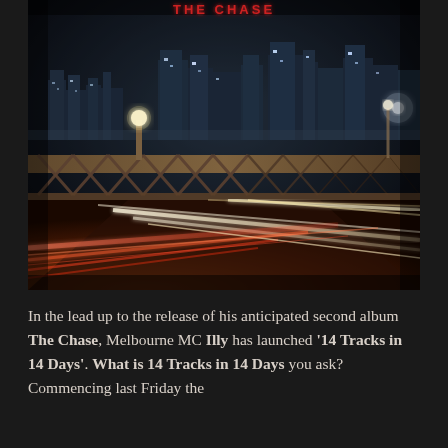[Figure (photo): Album cover for 'The Chase' showing a night cityscape with a bridge in the foreground, light trails from cars on the road, and a glowing city skyline in the background. The title 'THE CHASE' appears in red text at the top.]
In the lead up to the release of his anticipated second album The Chase, Melbourne MC Illy has launched '14 Tracks in 14 Days'. What is 14 Tracks in 14 Days you ask? Commencing last Friday the